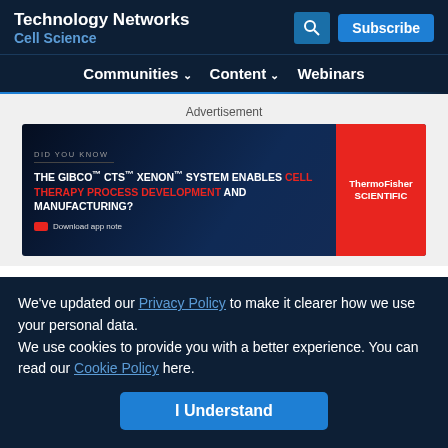Technology Networks | Cell Science
Communities ∨  Content ∨  Webinars
Advertisement
[Figure (illustration): Thermo Fisher Scientific advertisement for the Gibco CTS Xenon System. Dark blue background with bold white and red text reading: DID YOU KNOW THE GIBCO CTS XENON SYSTEM ENABLES CELL THERAPY PROCESS DEVELOPMENT AND MANUFACTURING? Download app note. Red ThermoFisher Scientific logo box on right.]
Chosen for You
We've updated our Privacy Policy to make it clearer how we use your personal data.
We use cookies to provide you with a better experience. You can read our Cookie Policy here.
I Understand